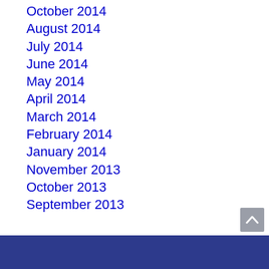October 2014
August 2014
July 2014
June 2014
May 2014
April 2014
March 2014
February 2014
January 2014
November 2013
October 2013
September 2013